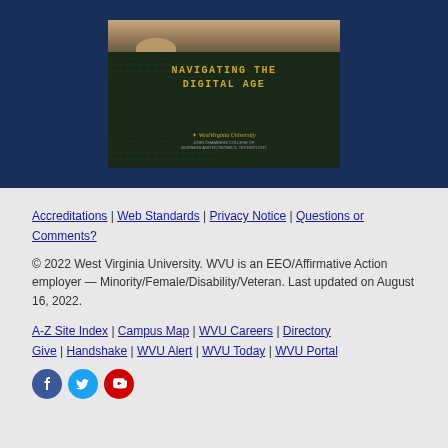[Figure (photo): Photo of a student looking at a laptop screen displaying 'NAVIGATING THE DIGITAL AGE' with West Virginia University branding, set against a dark navy background]
Accreditations | Web Standards | Privacy Notice | Questions or Comments?
© 2022 West Virginia University. WVU is an EEO/Affirmative Action employer — Minority/Female/Disability/Veteran. Last updated on August 16, 2022.
A-Z Site Index | Campus Map | WVU Careers | Directory Give | Handshake | WVU Alert | WVU Today | WVU Portal
[Figure (illustration): Social media icons: Facebook (blue circle with f), Twitter (light blue circle with bird), YouTube (red circle with play button)]